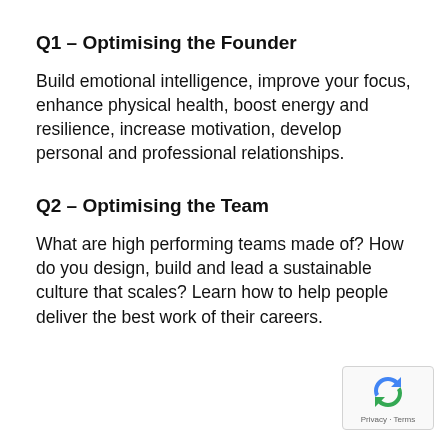Q1 – Optimising the Founder
Build emotional intelligence, improve your focus, enhance physical health, boost energy and resilience, increase motivation, develop personal and professional relationships.
Q2 – Optimising the Team
What are high performing teams made of? How do you design, build and lead a sustainable culture that scales? Learn how to help people deliver the best work of their careers.
[Figure (logo): reCAPTCHA badge with rotating arrows icon, Privacy and Terms links below]